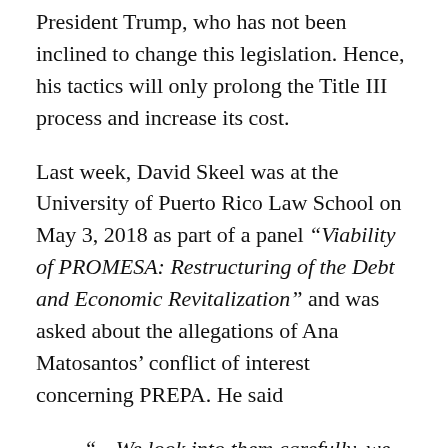President Trump, who has not been inclined to change this legislation. Hence, his tactics will only prolong the Title III process and increase its cost.
Last week, David Skeel was at the University of Puerto Rico Law School on May 3, 2018 as part of a panel “Viability of PROMESA: Restructuring of the Debt and Economic Revitalization” and was asked about the allegations of Ana Matosantos’ conflict of interest concerning PREPA. He said
“…We look into them carefully, we have our lawyers look at them and we fully investigate them. Our lawyers have done that with Ana Matosantos and have concluded that there are